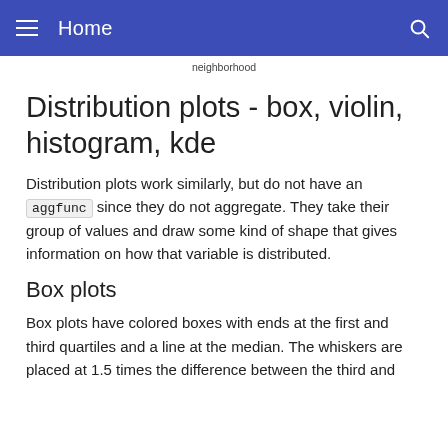Home
neighborhood
Distribution plots - box, violin, histogram, kde
Distribution plots work similarly, but do not have an aggfunc since they do not aggregate. They take their group of values and draw some kind of shape that gives information on how that variable is distributed.
Box plots
Box plots have colored boxes with ends at the first and third quartiles and a line at the median. The whiskers are placed at 1.5 times the difference between the third and